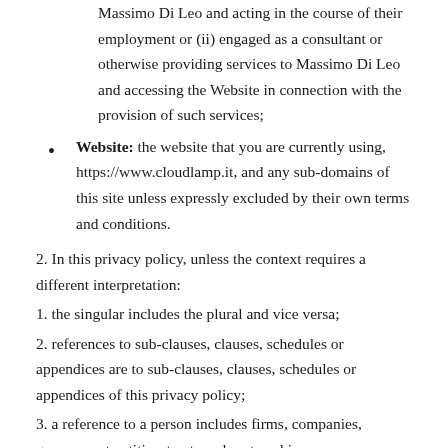Massimo Di Leo and acting in the course of their employment or (ii) engaged as a consultant or otherwise providing services to Massimo Di Leo and accessing the Website in connection with the provision of such services;
Website: the website that you are currently using, https://www.cloudlamp.it, and any sub-domains of this site unless expressly excluded by their own terms and conditions.
2. In this privacy policy, unless the context requires a different interpretation:
1. the singular includes the plural and vice versa;
2. references to sub-clauses, clauses, schedules or appendices are to sub-clauses, clauses, schedules or appendices of this privacy policy;
3. a reference to a person includes firms, companies, government entities, trusts and partnerships;
4. “including” is understood to mean “including without